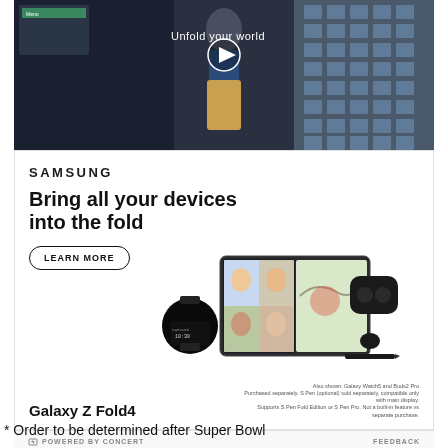[Figure (screenshot): Video thumbnail showing a man walking in a shopping area with text overlay 'Unfold your world' and a play button]
[Figure (photo): Samsung advertisement featuring Galaxy Z Fold4 with Samsung Watch5 and Buds2 Pro. Headline: Bring all your devices into the fold. Shows product images including smartwatch, foldable phone displaying video call, and earbuds case. LEARN MORE button.]
POWERED BY CONCERT   FEEDBACK
* Order to be determined after Super Bowl